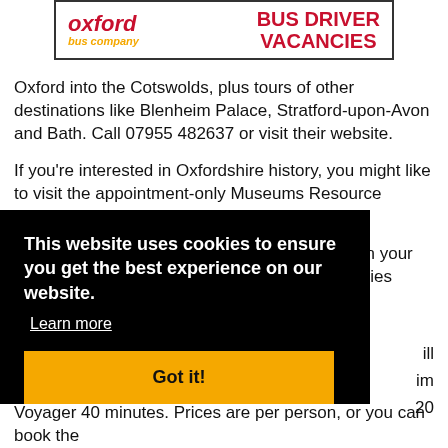[Figure (logo): Oxford Bus Company logo with red italic 'oxford' text and gold 'bus company' subtitle, alongside red bold 'BUS DRIVER VACANCIES' text in an advertisement banner]
Oxford into the Cotswolds, plus tours of other destinations like Blenheim Palace, Stratford-upon-Avon and Bath. Call 07955 482637 or visit their website.
If you're interested in Oxfordshire history, you might like to visit the appointment-only Museums Resource Centre:
If you want to explore Oxford and Oxfordshire in your own time, have a look at the self-guided itineraries available from
This website uses cookies to ensure you get the best experience on our website.
Learn more
Got it!
Voyager 40 minutes. Prices are per person, or you can book the